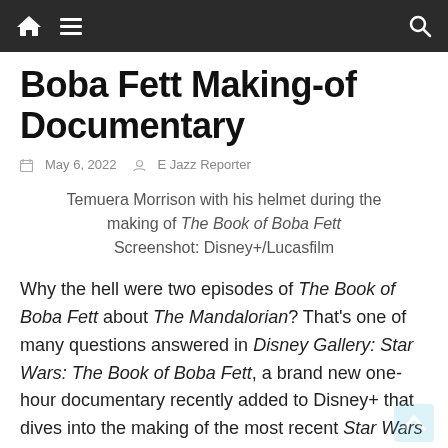Boba Fett Making-of Documentary — site navigation header
Boba Fett Making-of Documentary
May 6, 2022   E Jazz Reporter
Temuera Morrison with his helmet during the making of The Book of Boba Fett Screenshot: Disney+/Lucasfilm
Why the hell were two episodes of The Book of Boba Fett about The Mandalorian? That's one of many questions answered in Disney Gallery: Star Wars: The Book of Boba Fett, a brand new one-hour documentary recently added to Disney+ that dives into the making of the most recent Star Wars…